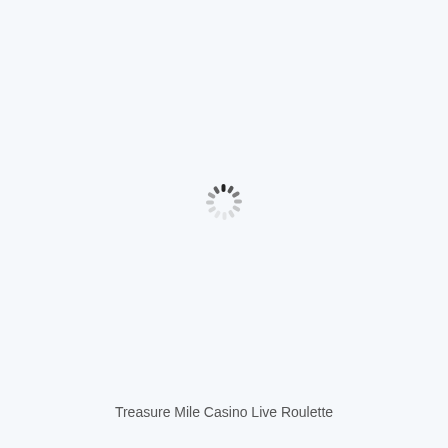[Figure (other): Loading spinner / activity indicator — a circular arrangement of short dashes radiating outward, styled in dark grey/black, centered on the page, indicating content is loading.]
Treasure Mile Casino Live Roulette